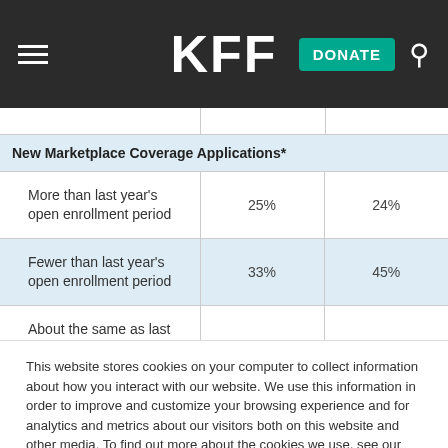KFF
|  |  |  |
| --- | --- | --- |
| New Marketplace Coverage Applications* |  |  |
| More than last year's open enrollment period | 25% | 24% |
| Fewer than last year's open enrollment period | 33% | 45% |
| About the same as last year's open enrollment period | 42% | 31% |
This website stores cookies on your computer to collect information about how you interact with our website. We use this information in order to improve and customize your browsing experience and for analytics and metrics about our visitors both on this website and other media. To find out more about the cookies we use, see our Privacy Policy.